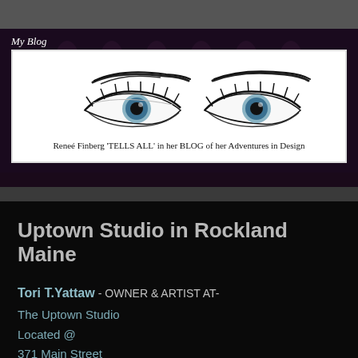[Figure (illustration): Blog banner header image showing two illustrated eyes with dramatic eye makeup, with text 'Reneé Finberg TELLS ALL in her BLOG of her Adventures in Design'. Label 'My Blog' appears in top left.]
Uptown Studio in Rockland Maine
Tori T.Yattaw - OWNER & ARTIST AT-
The Uptown Studio
Located @
371 Main Street
P.O. Box 1340
Rockland Maine 04841
207.594.1100